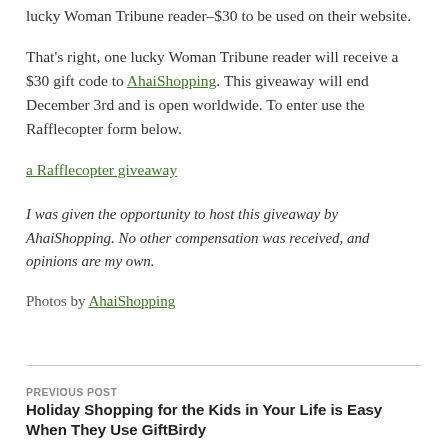lucky Woman Tribune reader–$30 to be used on their website.
That's right, one lucky Woman Tribune reader will receive a $30 gift code to AhaiShopping. This giveaway will end December 3rd and is open worldwide. To enter use the Rafflecopter form below.
a Rafflecopter giveaway
I was given the opportunity to host this giveaway by AhaiShopping. No other compensation was received, and opinions are my own.
Photos by AhaiShopping
PREVIOUS POST
Holiday Shopping for the Kids in Your Life is Easy When They Use GiftBirdy